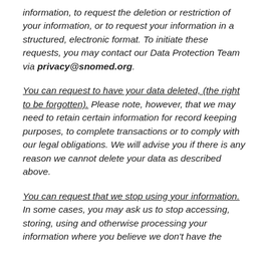information, to request the deletion or restriction of your information, or to request your information in a structured, electronic format. To initiate these requests, you may contact our Data Protection Team via privacy@snomed.org.
You can request to have your data deleted, (the right to be forgotten). Please note, however, that we may need to retain certain information for record keeping purposes, to complete transactions or to comply with our legal obligations. We will advise you if there is any reason we cannot delete your data as described above.
You can request that we stop using your information. In some cases, you may ask us to stop accessing, storing, using and otherwise processing your information where you believe we don't have the